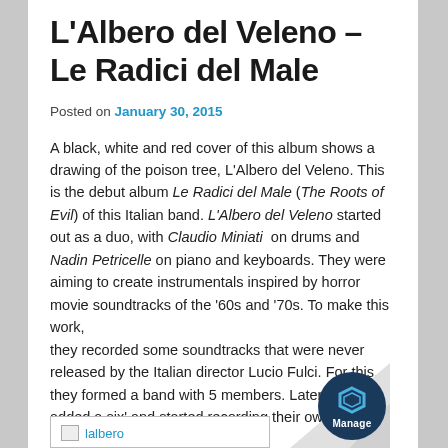L'Albero del Veleno – Le Radici del Male
Posted on January 30, 2015
A black, white and red cover of this album shows a drawing of the poison tree, L'Albero del Veleno. This is the debut album Le Radici del Male (The Roots of Evil) of this Italian band. L'Albero del Veleno started out as a duo, with Claudio Miniati on drums and Nadin Petricelle on piano and keyboards. They were aiming to create instrumentals inspired by horror movie soundtracks of the '60s and '70s. To make this work, they recorded some soundtracks that were never released by the Italian director Lucio Fulci. For this, they formed a band with 5 members. Later, they added a six' and started recording their own music.
[Figure (other): Placeholder image labeled 'lalbero']